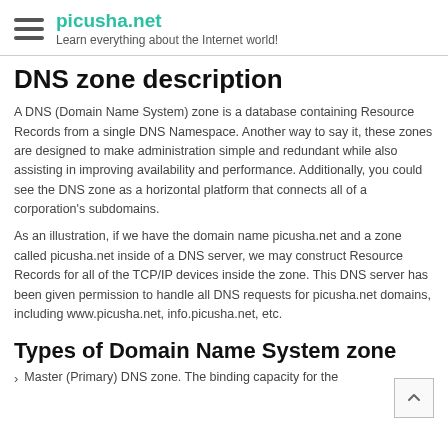picusha.net — Learn everything about the Internet world!
DNS zone description
A DNS (Domain Name System) zone is a database containing Resource Records from a single DNS Namespace. Another way to say it, these zones are designed to make administration simple and redundant while also assisting in improving availability and performance. Additionally, you could see the DNS zone as a horizontal platform that connects all of a corporation's subdomains.
As an illustration, if we have the domain name picusha.net and a zone called picusha.net inside of a DNS server, we may construct Resource Records for all of the TCP/IP devices inside the zone. This DNS server has been given permission to handle all DNS requests for picusha.net domains, including www.picusha.net, info.picusha.net, etc.
Types of Domain Name System zone
Master (Primary) DNS zone. The binding capacity for the